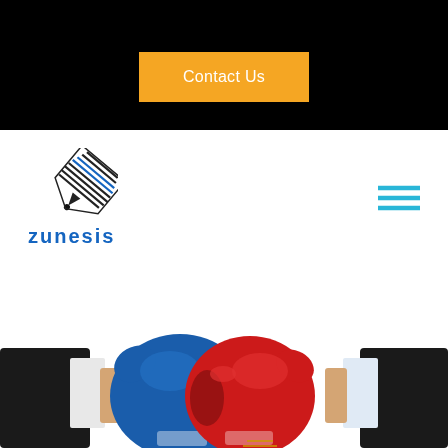[Figure (screenshot): Black banner at the top of a website page]
Contact Us
[Figure (logo): Zunesis company logo with stylized pen/marker icon and blue text reading ZUNESIS]
[Figure (illustration): Hamburger menu icon (three cyan horizontal lines) in the top right of nav bar]
[Figure (photo): Two people in business suits wearing boxing gloves (blue and red) facing each other, gloves touching, cropped at bottom of page]